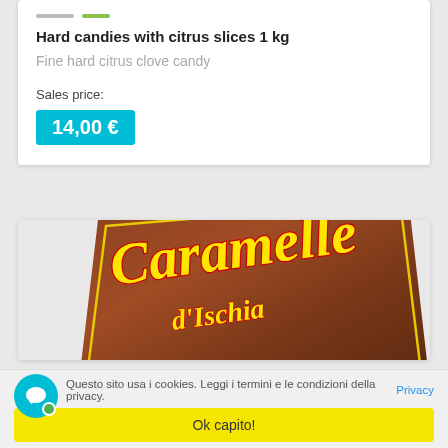Hard candies with citrus slices 1 kg
Fine hard citrus clove candy
Sales price:
14,00 €
[Figure (photo): Product photo of Caramelle d'Ischia candy box, brown background with yellow cursive logo text reading 'Caramelle d'Ischia' and text 'li...morbida alla liquirizia' at the bottom]
Questo sito usa i cookies. Leggi i termini e le condizioni della privacy. Privacy
Ok capito!